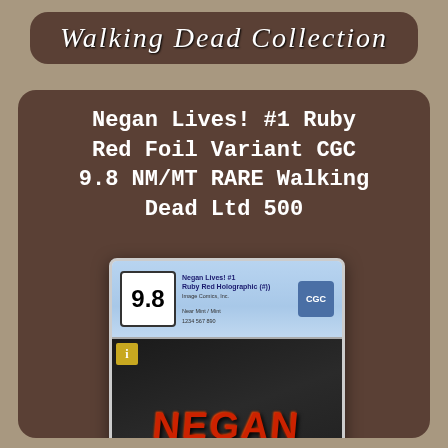Walking Dead Collection
Negan Lives! #1 Ruby Red Foil Variant CGC 9.8 NM/MT RARE Walking Dead Ltd 500
[Figure (photo): CGC graded comic book slab showing Negan Lives! #1 Ruby Red Foil Variant with a grade of 9.8, displaying the comic cover with red foil lettering on dark background]